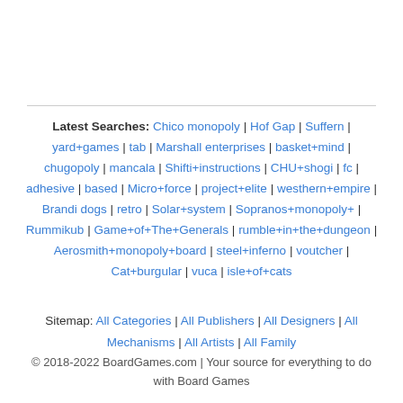Latest Searches: Chico monopoly | Hof Gap | Suffern | yard+games | tab | Marshall enterprises | basket+mind | chugopoly | mancala | Shifti+instructions | CHU+shogi | fc | adhesive | based | Micro+force | project+elite | westhern+empire | Brandi dogs | retro | Solar+system | Sopranos+monopoly+ | Rummikub | Game+of+The+Generals | rumble+in+the+dungeon | Aerosmith+monopoly+board | steel+inferno | voutcher | Cat+burgular | vuca | isle+of+cats
Sitemap: All Categories | All Publishers | All Designers | All Mechanisms | All Artists | All Family
© 2018-2022 BoardGames.com | Your source for everything to do with Board Games